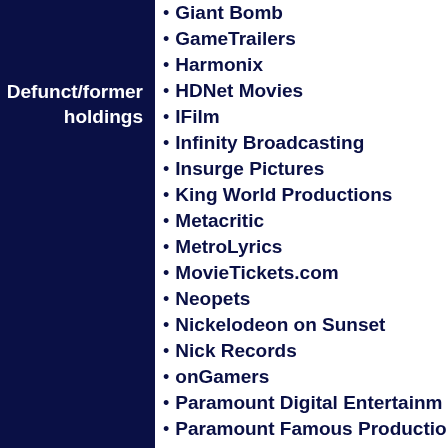Defunct/former holdings
Giant Bomb
GameTrailers
Harmonix
HDNet Movies
IFilm
Infinity Broadcasting
Insurge Pictures
King World Productions
Metacritic
MetroLyrics
MovieTickets.com
Neopets
Nickelodeon on Sunset
Nick Records
onGamers
Paramount Digital Entertainment
Paramount Famous Productions
Paramount Parks
Paramount Stations Group